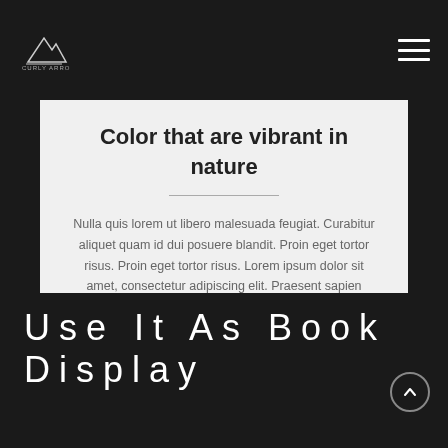Color that are vibrant in nature
Nulla quis lorem ut libero malesuada feugiat. Curabitur aliquet quam id dui posuere blandit. Proin eget tortor risus. Proin eget tortor risus. Lorem ipsum dolor sit amet, consectetur adipiscing elit. Praesent sapien massa, convallis a pellentesque nec, egestas non nisi.
Use It As Book Display